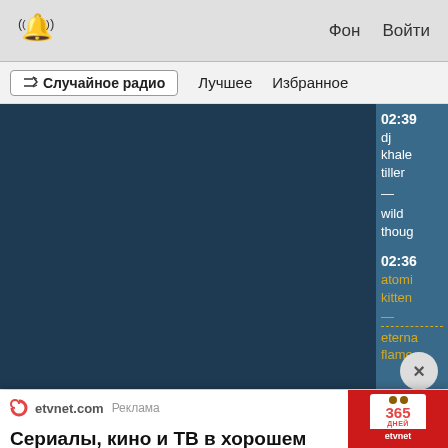[Figure (screenshot): Top navigation bar with bell icon, Фон and Войти links]
[Figure (screenshot): Navigation bar with shuffle radio button, Лучшее and Избранное links]
[Figure (screenshot): Dark blue music player panel with track listing on right side showing times 02:39 dj khaled tiller — wild thoughts, and 02:36 atomic kitten — eternal flame]
etvnet.com Реклама
Сериалы, кино и ТВ в хорошем качестве
[Figure (illustration): Calendar image showing 365 дней with etvnet branding on red background]